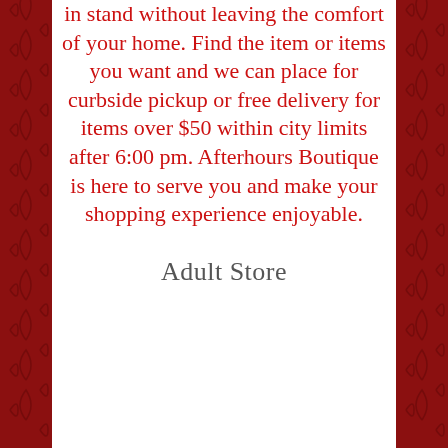in stand without leaving the comfort of your home. Find the item or items you want and we can place for curbside pickup or free delivery for items over $50 within city limits after 6:00 pm. Afterhours Boutique is here to serve you and make your shopping experience enjoyable.
Adult Store